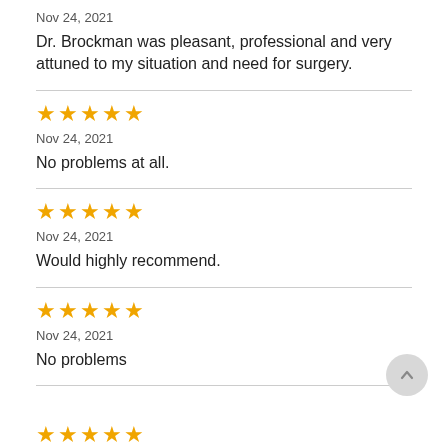Nov 24, 2021
Dr. Brockman was pleasant, professional and very attuned to my situation and need for surgery.
[Figure (other): 5 orange stars rating]
Nov 24, 2021
No problems at all.
[Figure (other): 5 orange stars rating]
Nov 24, 2021
Would highly recommend.
[Figure (other): 5 orange stars rating]
Nov 24, 2021
No problems
[Figure (other): 5 orange stars rating (partially visible at bottom)]